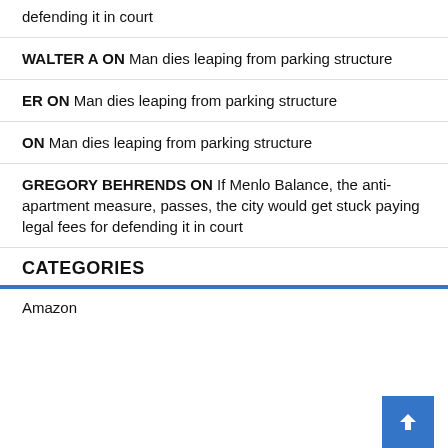defending it in court
WALTER A ON Man dies leaping from parking structure
ER ON Man dies leaping from parking structure
ON Man dies leaping from parking structure
GREGORY BEHRENDS ON If Menlo Balance, the anti-apartment measure, passes, the city would get stuck paying legal fees for defending it in court
CATEGORIES
Amazon